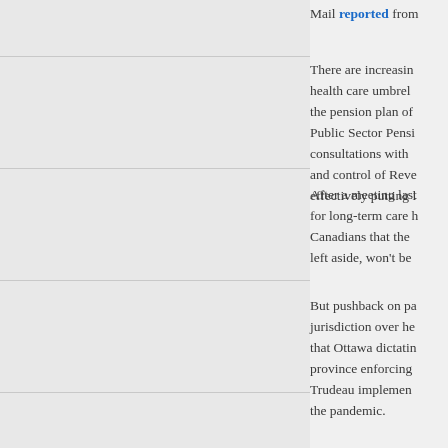Mail reported from
There are increasing health care umbrella the pension plan of Public Sector Pensi consultations with and control of Reve effectively putting l
After a meeting last for long-term care Canadians that the left aside, won't be
But pushback on pa jurisdiction over he that Ottawa dictatin province enforcing Trudeau implemen the pandemic.